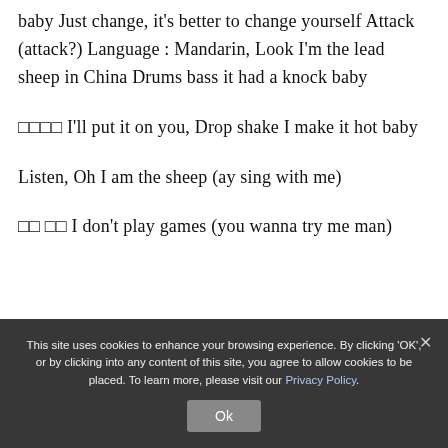baby Just change, it's better to change yourself Attack (attack?) Language : Mandarin, Look I'm the lead sheep in China Drums bass it had a knock baby
□□□□ I'll put it on you, Drop shake I make it hot baby
Listen, Oh I am the sheep (ay sing with me)
□□ □□ I don't play games (you wanna try me man)
This site uses cookies to enhance your browsing experience. By clicking 'OK', or by clicking into any content of this site, you agree to allow cookies to be placed. To learn more, please visit our Privacy Policy.